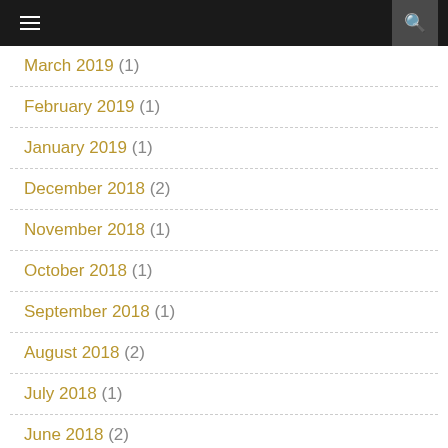≡ 🔍
March 2019 (1)
February 2019 (1)
January 2019 (1)
December 2018 (2)
November 2018 (1)
October 2018 (1)
September 2018 (1)
August 2018 (2)
July 2018 (1)
June 2018 (2)
May 2018 (1)
April 2018 (2)